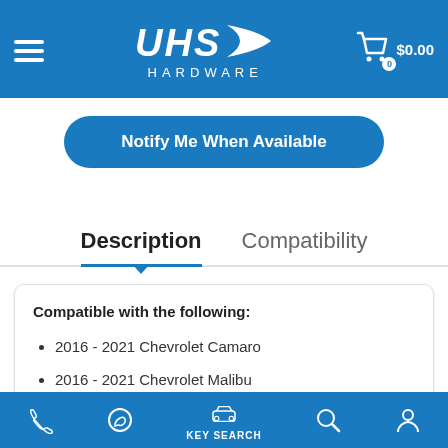UHS Hardware — navigation header with logo, hamburger menu, and cart showing $0.00
Notify Me When Available
Description   Compatibility
Compatible with the following:
2016 - 2021 Chevrolet Camaro
2016 - 2021 Chevrolet Malibu
Phone | WhatsApp | KEY SEARCH | Search | Account